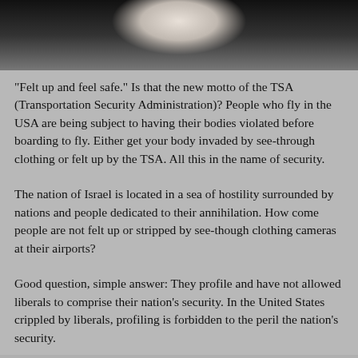[Figure (photo): Top portion of a photograph showing a person in a white shirt, cropped at torso/shoulder level, against a dark background.]
“Felt up and feel safe.” Is that the new motto of the TSA (Transportation Security Administration)? People who fly in the USA are being subject to having their bodies violated before boarding to fly. Either get your body invaded by see-through clothing or felt up by the TSA. All this in the name of security.
The nation of Israel is located in a sea of hostility surrounded by nations and people dedicated to their annihilation. How come people are not felt up or stripped by see-though clothing cameras at their airports?
Good question, simple answer: They profile and have not allowed liberals to comprise their nation’s security. In the United States crippled by liberals, profiling is forbidden to the peril the nation’s security.